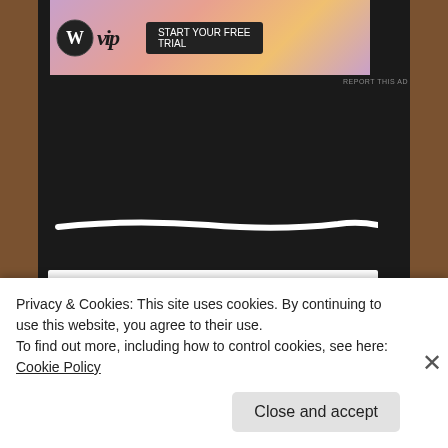[Figure (screenshot): WordPress VIP advertisement banner at top of sidebar]
REPORT THIS AD
[Figure (illustration): Decorative white hand-drawn horizontal line on dark background]
Search ...
Recent Posts
What is Writing Grief?
Privacy & Cookies: This site uses cookies. By continuing to use this website, you agree to their use.
To find out more, including how to control cookies, see here: Cookie Policy
Close and accept